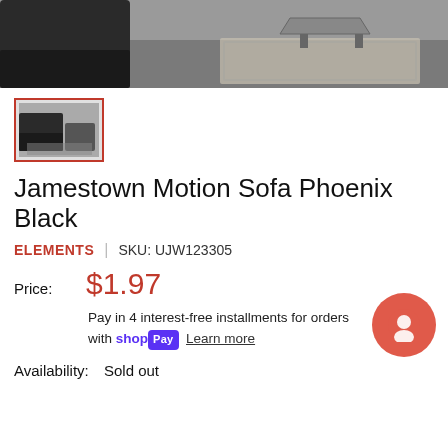[Figure (photo): Partial view of a dark recliner sofa set in a room with gray flooring and a geometric rug]
[Figure (photo): Thumbnail image of the Jamestown Motion Sofa Phoenix Black, selected with red border]
Jamestown Motion Sofa Phoenix Black
ELEMENTS | SKU: UJW123305
Price: $1.97
Pay in 4 interest-free installments for orders over $50 with Shop Pay Learn more
Availability: Sold out